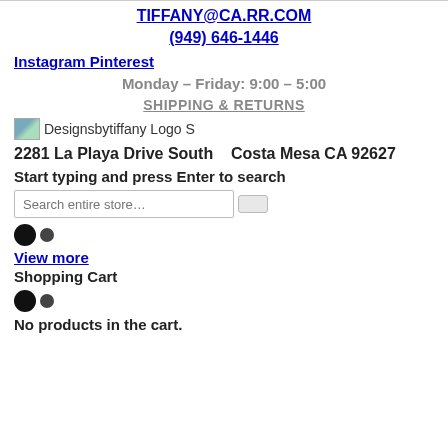TIFFANY@CA.RR.COM
(949) 646-1446
Instagram Pinterest
Monday – Friday: 9:00 – 5:00
SHIPPING & RETURNS
[Figure (logo): Designsbytiffany Logo S — small broken image placeholder with logo text]
2281 La Playa Drive South   Costa Mesa CA 92627
Start typing and press Enter to search
Search entire store…
View more
Shopping Cart
No products in the cart.